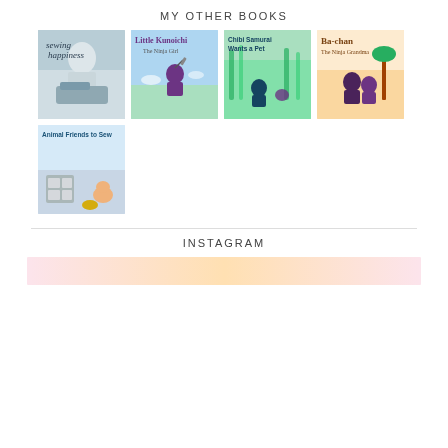MY OTHER BOOKS
[Figure (photo): Book cover: Sewing Happiness]
[Figure (photo): Book cover: Little Kunoichi The Ninja Girl]
[Figure (photo): Book cover: Chibi Samurai Wants a Pet]
[Figure (photo): Book cover: Ba-chan The Ninja Grandma]
[Figure (photo): Book cover: Animal Friends to Sew]
INSTAGRAM
[Figure (photo): Instagram preview image (pink/peach toned)]